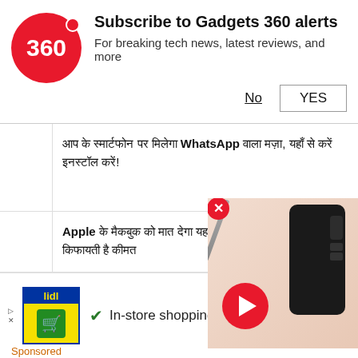Subscribe to Gadgets 360 alerts
For breaking tech news, latest reviews, and more
आप के स्मार्टफोन पर मिलेगा WhatsApp वाला मज़ा, यहाँ से करें इनस्टॉल करें!
Apple के मैकबुक को मात देगा यह पावरफुल लैपटॉप जो बेहद किफायती है कीमत
[Figure (screenshot): Video overlay showing a smartphone (dark colored phone) with a red play button, close button (red X), on a pink/peach background]
Flipkart का सेल 5 लाखों Big B ऑफर, स्मार्टफोन्स पर शानदार डील पाए
Sponsored
[Figure (screenshot): Lidl grocery store advertisement with checkmark, In-store shopping text, and blue navigation arrow icon]